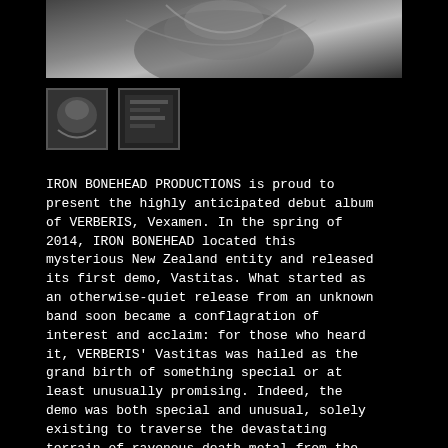[Figure (photo): Black and white cropped image of dark creature/monster artwork at the top of the page]
[Figure (photo): Two small thumbnail images below the main image: first shows a creature artwork, second shows an album/book cover]
IRON BONEHEAD PRODUCTIONS is proud to present the highly anticipated debut album of VERBERIS, Vexamen. In the spring of 2014, IRON BONEHEAD located this mysterious New Zealand entity and released its first demo, Vastitas. What started as an otherwise-quiet release from an unknown band soon became a conflagration of interest and acclaim: for those who heard it, VERBERIS' Vastitas was hailed as the grand birth of something special or at least unusually promising. Indeed, the demo was both special and unusual, solely existing to traverse the devastating terrain of ravenous death metal from the